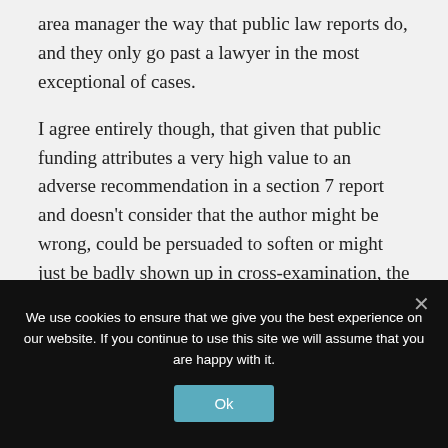area manager the way that public law reports do, and they only go past a lawyer in the most exceptional of cases.
I agree entirely though, that given that public funding attributes a very high value to an adverse recommendation in a section 7 report and doesn’t consider that the author might be wrong, could be persuaded to soften or might just be badly shown up in cross-examination, the quality of the report is vital. (My answer to that would be, simply, that
We use cookies to ensure that we give you the best experience on our website. If you continue to use this site we will assume that you are happy with it.
Ok